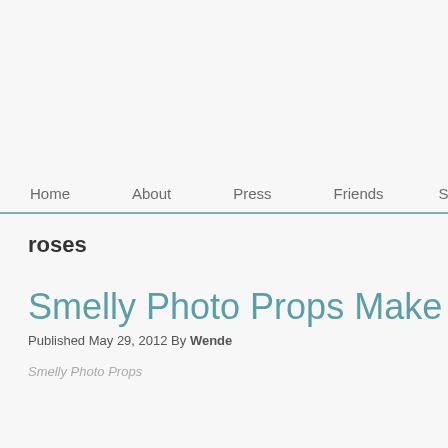Home   About   Press   Friends   Shop   Ou
roses
Smelly Photo Props Make Me Happ
Published May 29, 2012 By Wende
Smelly Photo Props